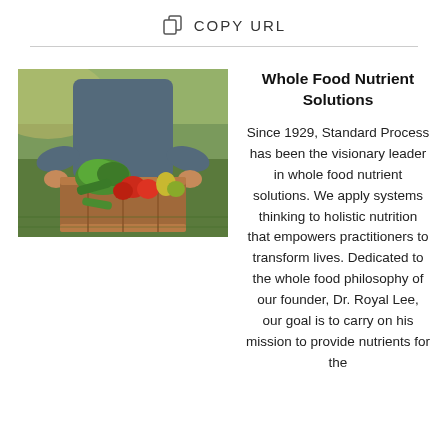COPY URL
[Figure (photo): Person standing in a farm field holding a wooden crate filled with fresh vegetables including lettuce, red peppers, zucchini, and other produce, with crop rows visible in the background.]
Whole Food Nutrient Solutions
Since 1929, Standard Process has been the visionary leader in whole food nutrient solutions. We apply systems thinking to holistic nutrition that empowers practitioners to transform lives. Dedicated to the whole food philosophy of our founder, Dr. Royal Lee, our goal is to carry on his mission to provide nutrients for the